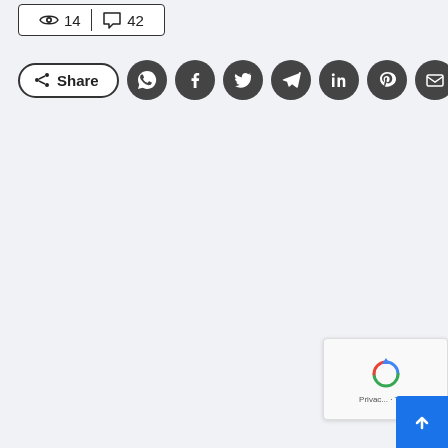[Figure (infographic): Stats box showing 14 views and 42 comments, with share button and social media icon circles for WhatsApp, Facebook, Twitter, Telegram, LinkedIn, Pinterest, and Email. Bottom right shows a partial reCAPTCHA widget and a blue scroll-to-top button.]